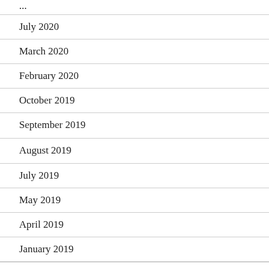July 2020
March 2020
February 2020
October 2019
September 2019
August 2019
July 2019
May 2019
April 2019
January 2019
October 2018